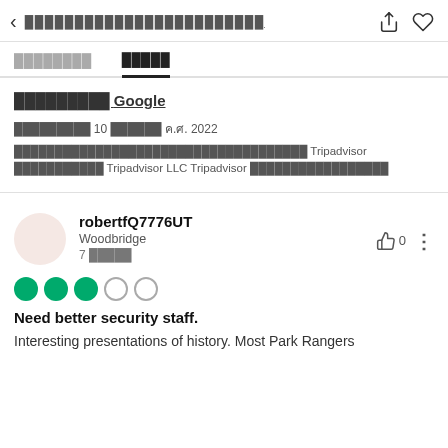< ████████████████████████
████████  █████
█████████ Google
█████████ 10 ███████ ค.ศ. 2022
████████████████████████████████████ Tripadvisor ████████████ Tripadvisor LLC Tripadvisor █████████████████
robertfQ7776UT
Woodbridge
7 █████
[Figure (other): 3 filled green circles and 2 empty circles rating (3 out of 5)]
Need better security staff.
Interesting presentations of history. Most Park Rangers